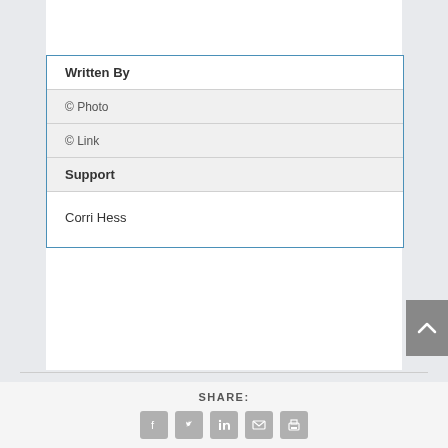[Figure (photo): Crowd of people photographed from behind, heads visible at top of page]
| Field | Value |
| --- | --- |
| Written By |  |
| © Photo |  |
| © Link |  |
| Support |  |
|  | Corri Hess |
SHARE:
[Figure (infographic): Social share icons: Facebook, Twitter, LinkedIn, Email, Print]